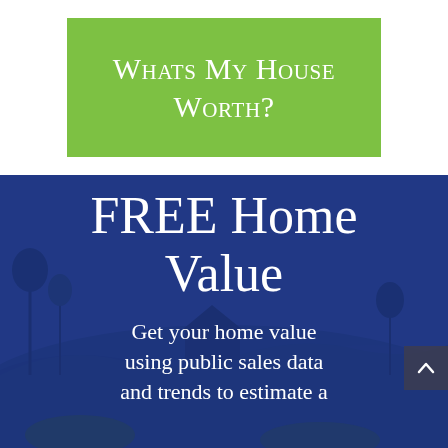Whats My House Worth?
[Figure (photo): Aerial/landscape photo of a rural house with trees, overlaid with a dark blue-purple semi-transparent color wash. Contains large white text 'FREE Home Value' and subtitle text about getting home value using public sales data and trends.]
FREE Home Value
Get your home value using public sales data and trends to estimate a